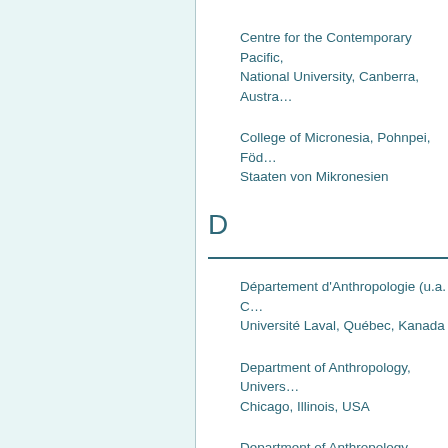Centre for the Contemporary Pacific, Australian National University, Canberra, Australia
College of Micronesia, Pohnpei, Föderierte Staaten von Mikronesien
D
Département d'Anthropologie (u.a. C...), Université Laval, Québec, Kanada
Department of Anthropology, University of Chicago, Illinois, USA
Department of Anthropology, Wichita State University, Wichita, Kansas, USA
Department of Indigenous Studies